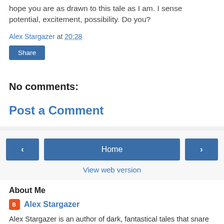hope you are as drawn to this tale as I am. I sense potential, excitement, possibility. Do you?
Alex Stargazer at 20:28
Share
No comments:
Post a Comment
Home
View web version
About Me
Alex Stargazer
Alex Stargazer is an author of dark, fantastical tales that snare you in with epic world-building. Since writing his first novel—the Necromancer—at age 14, Alex has released two short stories and a